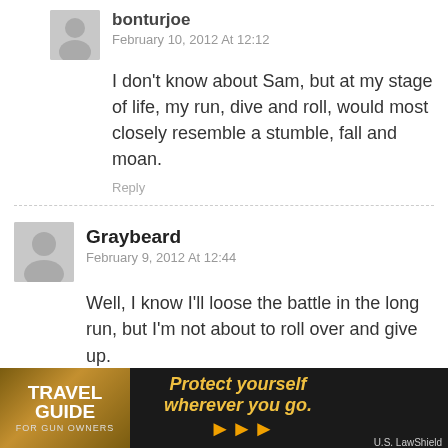bonturjoe
February 10, 2012 At 12:12
I don't know about Sam, but at my stage of life, my run, dive and roll, would most closely resemble a stumble, fall and moan.
Reply
Graybeard
February 9, 2012 At 12:44
Well, I know I'll loose the battle in the long run, but I'm not about to roll over and give up.
As an Advisor to a Venturing Crew for 15 years (co-ed part of the BSA for 14-20 year olds) I have tried to keep as fit as a cube-farm-dweller can. Went out for a hike through the woods last night. Per the GPS I carried, I averaged a 3.7 mph pace over 3.82 miles
[Figure (photo): Advertisement banner for Travel Guide for Gun Owners and U.S. LawShield: 'Protect yourself wherever you go.']